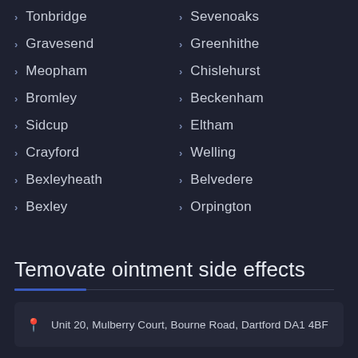Tonbridge
Sevenoaks
Gravesend
Greenhithe
Meopham
Chislehurst
Bromley
Beckenham
Sidcup
Eltham
Crayford
Welling
Bexleyheath
Belvedere
Bexley
Orpington
Temovate ointment side effects
Unit 20, Mulberry Court, Bourne Road, Dartford DA1 4BF